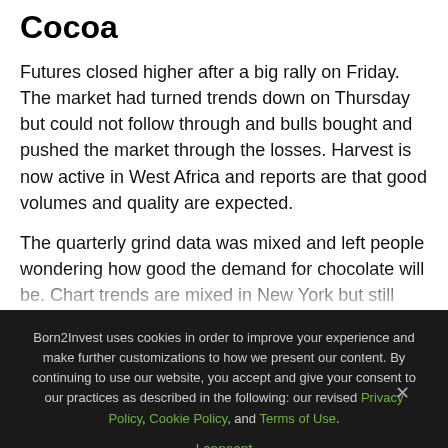Cocoa
Futures closed higher after a big rally on Friday. The market had turned trends down on Thursday but could not follow through and bulls bought and pushed the market through the losses.  Harvest is now active in West Africa and reports are that good volumes and quality are expected.
The quarterly grind data was mixed and left people wondering how good the demand for chocolate will be. Chart trends are mixed in New York but still mostly down in London. The reports from West Africa imply that a big harvest is possible in the region.  Ivory Coast arrivals are strong and are above year-age levels.
Born2Invest uses cookies in order to improve your experience and make further customizations to how we present our content. By continuing to use our website, you accept and give your consent to our practices as described in the following: our revised Privacy Policy, Cookie Policy, and Terms of Use.
I consent